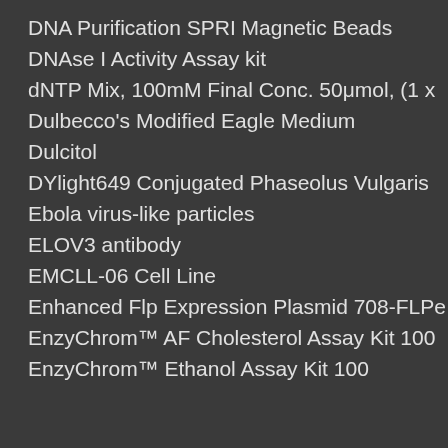DNA Purification SPRI Magnetic Beads
DNAse I Activity Assay kit
dNTP Mix, 100mM Final Conc. 50μmol, (1 x
Dulbecco's Modified Eagle Medium
Dulcitol
DYlight649 Conjugated Phaseolus Vulgaris
Ebola virus-like particles
ELOV3 antibody
EMCLL-06 Cell Line
Enhanced Flp Expression Plasmid 708-FLPe
EnzyChrom™ AF Cholesterol Assay Kit 100
EnzyChrom™ Ethanol Assay Kit 100